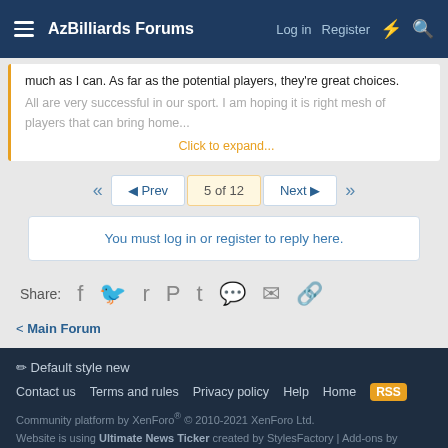AzBilliards Forums | Log in | Register
much as I can. As far as the potential players, they're great choices. All are very successful in our sport. I am hoping it is right mesh of players that can bring home the...
Click to expand...
5 of 12 | Prev | Next
You must log in or register to reply here.
Share:
Main Forum
Default style new | Contact us | Terms and rules | Privacy policy | Help | Home | Community platform by XenForo® © 2010-2021 XenForo Ltd. Website is using Ultimate News Ticker created by StylesFactory | Add-ons by ThemeHouse